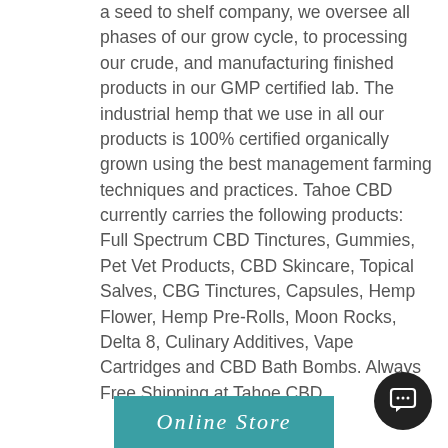a seed to shelf company, we oversee all phases of our grow cycle, to processing our crude, and manufacturing finished products in our GMP certified lab. The industrial hemp that we use in all our products is 100% certified organically grown using the best management farming techniques and practices. Tahoe CBD currently carries the following products: Full Spectrum CBD Tinctures, Gummies, Pet Vet Products, CBD Skincare, Topical Salves, CBG Tinctures, Capsules, Hemp Flower, Hemp Pre-Rolls, Moon Rocks, Delta 8, Culinary Additives, Vape Cartridges and CBD Bath Bombs. Always Free Shipping at Tahoe CBD.
[Figure (other): Teal/turquoise button with cursive text reading 'Online Store']
[Figure (other): Dark circular chat bubble icon in bottom right corner]